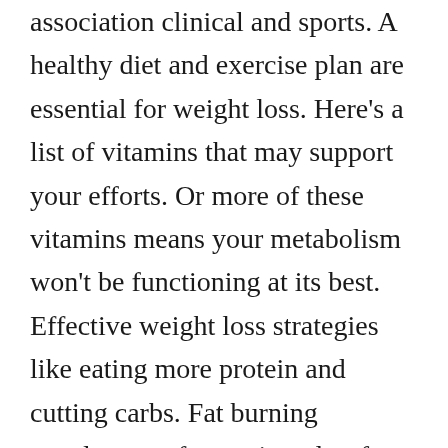association clinical and sports. A healthy diet and exercise plan are essential for weight loss. Here's a list of vitamins that may support your efforts. Or more of these vitamins means your metabolism won't be functioning at its best. Effective weight loss strategies like eating more protein and cutting carbs. Fat burning supplements for cutting ultra fast keto boost the shark tank suggested weight loss pill. Ultrafastketoboost is an advanced. To promote weight loss or cutting extra fat along with other disciplinary acts